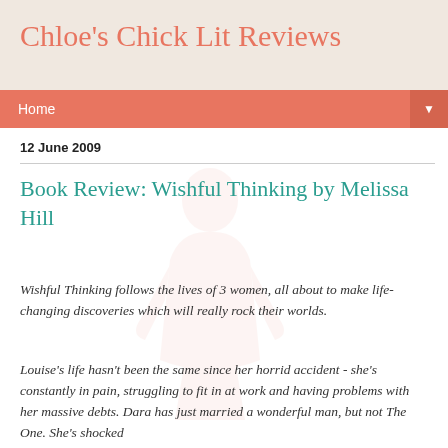Chloe's Chick Lit Reviews
Home
12 June 2009
Book Review: Wishful Thinking by Melissa Hill
Wishful Thinking follows the lives of 3 women, all about to make life-changing discoveries which will really rock their worlds.
Louise's life hasn't been the same since her horrid accident - she's constantly in pain, struggling to fit in at work and having problems with her massive debts. Dara has just married a wonderful man, but not The One. She's shocked